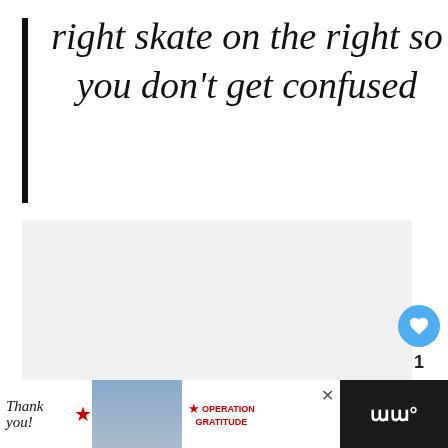right skate on the right so you don't get confused
[Figure (other): Light gray placeholder content box with three dots indicating a carousel or loading state]
[Figure (photo): Advertisement bar at the bottom showing a 'Thank you' message with a pencil graphic, nurses holding items, and Operation Gratitude logo on dark background]